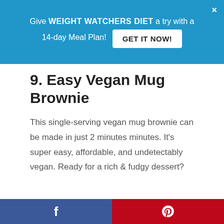Give WEIGHT WATCHERS DIET a try with a 14-day Meal Plan! GET IT NOW!
9. Easy Vegan Mug Brownie
This single-serving vegan mug brownie can be made in just 2 minutes minutes. It's super easy, affordable, and undetectably vegan. Ready for a rich & fudgy dessert?
[Figure (photo): Top-down photo of a white bowl filled with dark cocoa powder on a woven mat, with a white bowl of liquid partially visible on the right side, on a gray surface. Social share buttons (heart icon with 61, share icon) visible on the right.]
WHAT'S NEXT → 15 Microwave Mug Cake…
Facebook share | Pinterest share